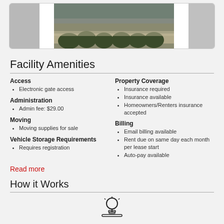[Figure (photo): Photo strip showing facility exterior with shrubs/hedges and building]
Facility Amenities
Access
Electronic gate access
Administration
Admin fee: $29.00
Moving
Moving supplies for sale
Vehicle Storage Requirements
Requires registration
Property Coverage
Insurance required
Insurance available
Homeowners/Renters insurance accepted
Billing
Email billing available
Rent due on same day each month per lease start
Auto-pay available
Read more
How it Works
[Figure (illustration): Icon illustration for How it Works section]